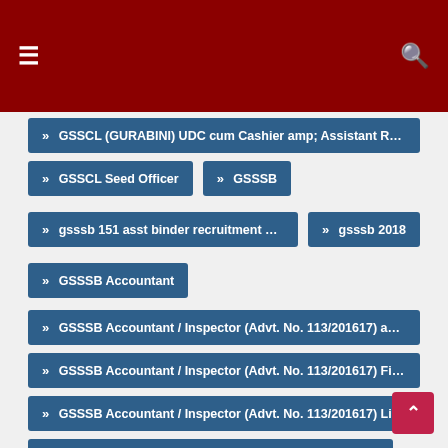Navigation header with hamburger menu and search icon
GSSCL (GURABINI) UDC cum Cashier amp; Assistant Result/ Final
GSSCL Seed Officer
GSSSB
gsssb 151 asst binder recruitment 2016
gsssb 2018
GSSSB Accountant
GSSSB Accountant / Inspector (Advt. No. 113/201617) amp;
GSSSB Accountant / Inspector (Advt. No. 113/201617) Final Result
GSSSB Accountant / Inspector (Advt. No. 113/201617) List of
GSSSB Accountant / Inspector Final Answer Key 2018
GSSSB Accountant / Inspector Revised Final Answer Key 2018
GSSSB Accountant Provisional Answer Key Declared 2018
GSSSB Accountant Revised Final Answer Key 2018
GSSSB Additional Assistant Engineer and Municipal Engineer